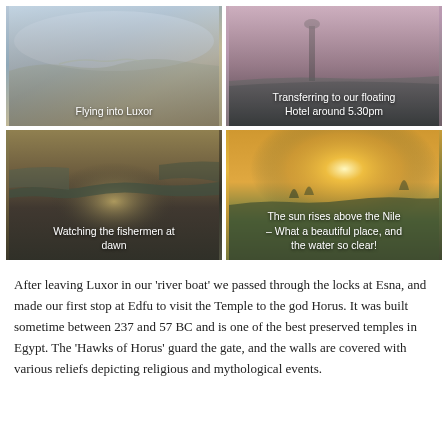[Figure (photo): Aerial view flying into Luxor, hazy river landscape from above]
[Figure (photo): City waterfront with industrial chimney at dusk, transferring to floating hotel around 5.30pm]
[Figure (photo): Dark water at dawn with fishermen silhouetted, watching the fishermen at dawn]
[Figure (photo): Sunrise above the Nile with golden light, sun rises above the Nile – What a beautiful place, and the water so clear!]
After leaving Luxor in our 'river boat' we passed through the locks at Esna, and made our first stop at Edfu to visit the Temple to the god Horus. It was built sometime between 237 and 57 BC and is one of the best preserved temples in Egypt. The 'Hawks of Horus' guard the gate, and the walls are covered with various reliefs depicting religious and mythological events.